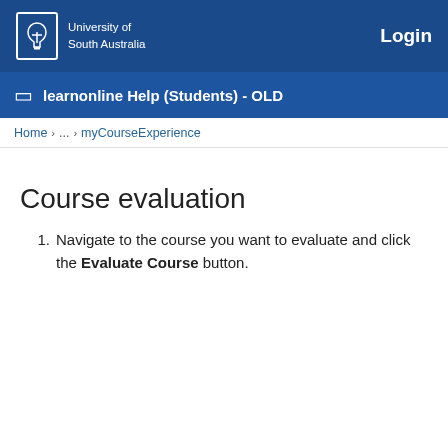University of South Australia | Login
learnonline Help (Students) - OLD
Home › ... › myCourseExperience
Course evaluation
Navigate to the course you want to evaluate and click the Evaluate Course button.